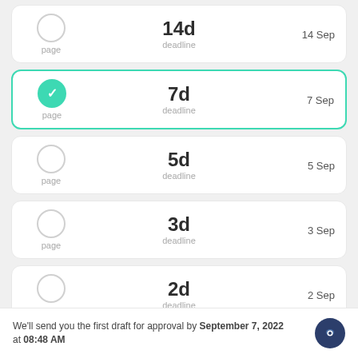14d deadline | page | 14 Sep
7d deadline | page | 7 Sep (selected)
5d deadline | page | 5 Sep
3d deadline | page | 3 Sep
2d deadline | page | 2 Sep
24h deadline | page | tomorrow at 8 AM
We'll send you the first draft for approval by September 7, 2022 at 08:48 AM